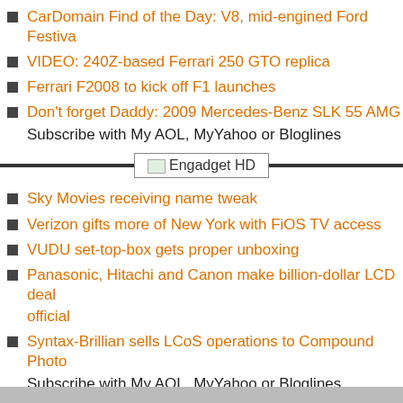CarDomain Find of the Day: V8, mid-engined Ford Festiva
VIDEO: 240Z-based Ferrari 250 GTO replica
Ferrari F2008 to kick off F1 launches
Don't forget Daddy: 2009 Mercedes-Benz SLK 55 AMG
Subscribe with My AOL, MyYahoo or Bloglines
[Figure (logo): Engadget HD logo/banner with horizontal divider line]
Sky Movies receiving name tweak
Verizon gifts more of New York with FiOS TV access
VUDU set-top-box gets proper unboxing
Panasonic, Hitachi and Canon make billion-dollar LCD deal official
Syntax-Brillian sells LCoS operations to Compound Photonics
Subscribe with My AOL, MyYahoo or Bloglines